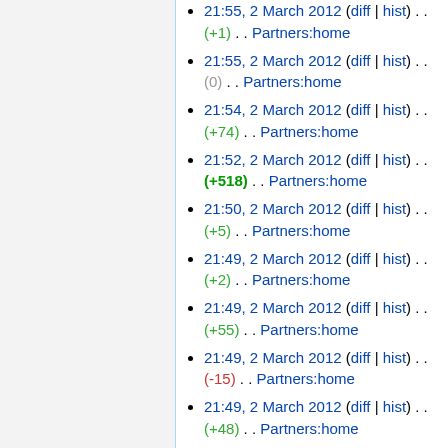21:55, 2 March 2012 (diff | hist) . . (+1) . . Partners:home
21:55, 2 March 2012 (diff | hist) . . (0) . . Partners:home
21:54, 2 March 2012 (diff | hist) . . (+74) . . Partners:home
21:52, 2 March 2012 (diff | hist) . . (+518) . . Partners:home
21:50, 2 March 2012 (diff | hist) . . (+5) . . Partners:home
21:49, 2 March 2012 (diff | hist) . . (+2) . . Partners:home
21:49, 2 March 2012 (diff | hist) . . (+55) . . Partners:home
21:49, 2 March 2012 (diff | hist) . . (-15) . . Partners:home
21:49, 2 March 2012 (diff | hist) . . (+48) . . Partners:home
21:47, 2 March 2012 (diff | hist) . . (+8) . . Partners:home